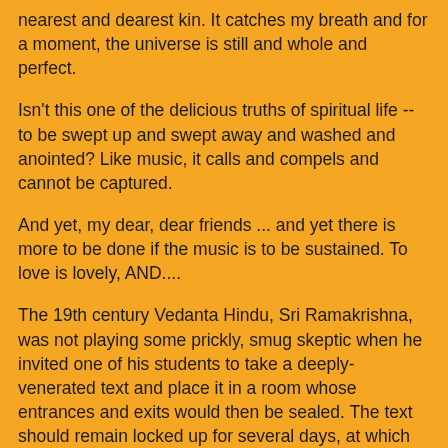nearest and dearest kin. It catches my breath and for a moment, the universe is still and whole and perfect.
Isn't this one of the delicious truths of spiritual life -- to be swept up and swept away and washed and anointed? Like music, it calls and compels and cannot be captured.
And yet, my dear, dear friends ... and yet there is more to be done if the music is to be sustained. To love is lovely, AND....
The 19th century Vedanta Hindu, Sri Ramakrishna, was not playing some prickly, smug skeptic when he invited one of his students to take a deeply-venerated text and place it in a room whose entrances and exits would then be sealed. The text should remain locked up for several days, at which point the student was advised to re-enter the room and see if anything had happened.
This is no snarky experiment. It is the truth of spiritual endeavor ... to winkle out the essence of the beauty and music and love. If nothing happened, then however blood-of-my-blood dear a venerated text or totem or teaching might